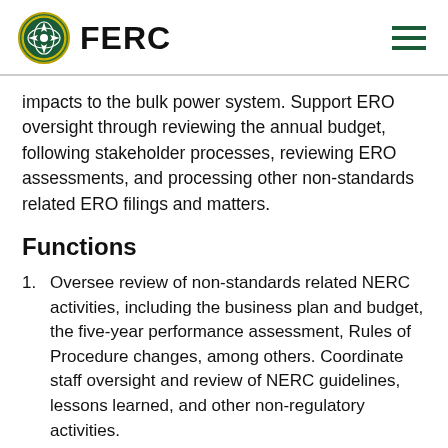FERC
impacts to the bulk power system. Support ERO oversight through reviewing the annual budget, following stakeholder processes, reviewing ERO assessments, and processing other non-standards related ERO filings and matters.
Functions
Oversee review of non-standards related NERC activities, including the business plan and budget, the five-year performance assessment, Rules of Procedure changes, among others. Coordinate staff oversight and review of NERC guidelines, lessons learned, and other non-regulatory activities.
Review electric rate filings to determine those with